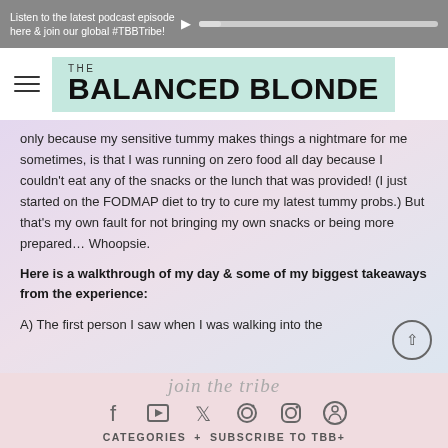Listen to the latest podcast episode here & join our global #TBBTribe!
THE BALANCED BLONDE
only because my sensitive tummy makes things a nightmare for me sometimes, is that I was running on zero food all day because I couldn't eat any of the snacks or the lunch that was provided! (I just started on the FODMAP diet to try to cure my latest tummy probs.) But that's my own fault for not bringing my own snacks or being more prepared… Whoopsie.
Here is a walkthrough of my day & some of my biggest takeaways from the experience:
A) The first person I saw when I was walking into the
join the tribe
CATEGORIES + SUBSCRIBE TO TBB+